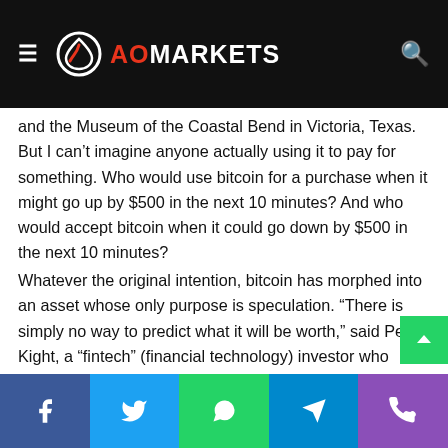AO MARKETS
and the Museum of the Coastal Bend in Victoria, Texas. But I can't imagine anyone actually using it to pay for something. Who would use bitcoin for a purchase when it might go up by $500 in the next 10 minutes? And who would accept bitcoin when it could go down by $500 in the next 10 minutes?
Whatever the original intention, bitcoin has morphed into an asset whose only purpose is speculation. “There is simply no way to predict what it will be worth,” said Pete Kight, a “fintech” (financial technology) investor who founded Checkfree in 1981. That is its fatal flaw as an electronic currency.
Or, rather, that is one of them. The other flaw is the very qu…